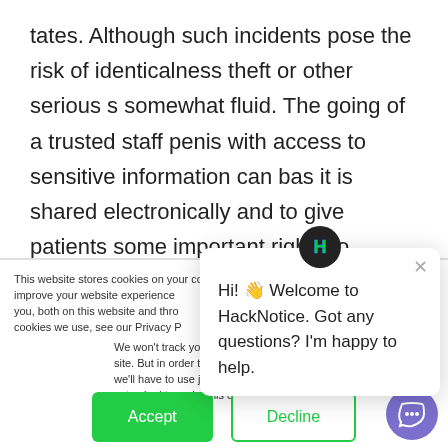tates. Although such incidents pose the risk of identicalness theft or other serious s somewhat fluid. The going of a trusted staff penis with access to sensitive information can bas it is shared electronically and to give patients some important rights to monitor their medical r
This website stores cookies on your computer. These are used to improve your website experience you, both on this website and through cookies we use, see our Privacy P
We won't track your site. But in order to we'll have to use just not asked to make this choice again.
Hi! 👋 Welcome to HackNotice. Got any questions? I'm happy to help.